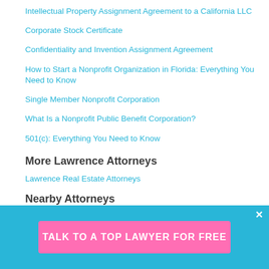Intellectual Property Assignment Agreement to a California LLC
Corporate Stock Certificate
Confidentiality and Invention Assignment Agreement
How to Start a Nonprofit Organization in Florida: Everything You Need to Know
Single Member Nonprofit Corporation
What Is a Nonprofit Public Benefit Corporation?
501(c): Everything You Need to Know
More Lawrence Attorneys
Lawrence Real Estate Attorneys
Nearby Attorneys
TALK TO A TOP LAWYER FOR FREE